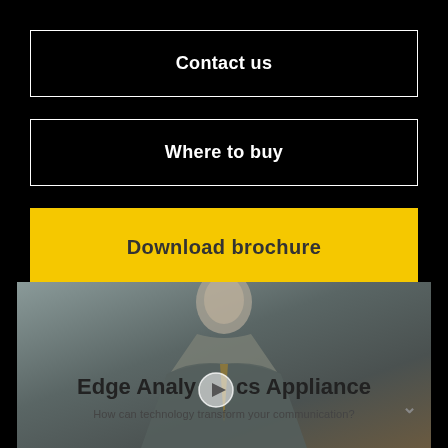Contact us
Where to buy
Download brochure
[Figure (photo): Video thumbnail showing a man in a suit with overlay text 'Edge Analytics Appliance – How can technology transform your communication?' and a play button]
Edge Analytics Appliance
How can technology transform your communication?